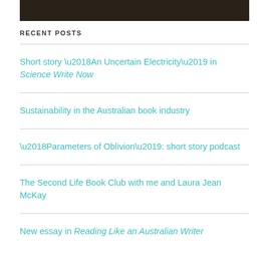[Figure (photo): Dark photograph strip at the top of the page, appears to show a dark indoor or night scene]
RECENT POSTS
Short story ‘An Uncertain Electricity’ in Science Write Now
Sustainability in the Australian book industry
‘Parameters of Oblivion’: short story podcast
The Second Life Book Club with me and Laura Jean McKay
New essay in Reading Like an Australian Writer